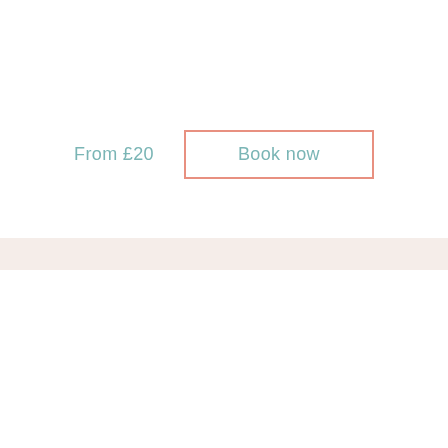From £20
Book now
We use cookies and similar technologies to enable services and functionality on our site and to understand your interaction with our service. By clicking on accept, you agree to our use of such technologies for marketing and analytics. See Privacy Policy
Cookie Settings
Accept